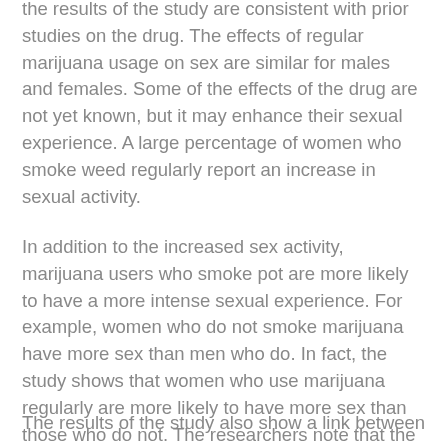the results of the study are consistent with prior studies on the drug. The effects of regular marijuana usage on sex are similar for males and females. Some of the effects of the drug are not yet known, but it may enhance their sexual experience. A large percentage of women who smoke weed regularly report an increase in sexual activity.
In addition to the increased sex activity, marijuana users who smoke pot are more likely to have a more intense sexual experience. For example, women who do not smoke marijuana have more sex than men who do. In fact, the study shows that women who use marijuana regularly are more likely to have more sex than those who do not. The researchers note that the biological underpinnings of marijuana are unclear and aren't fully understood.
The results of the study also show a link between